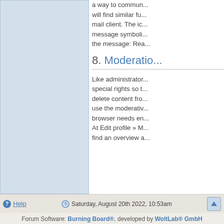[Figure (other): Light blue left panel area, part of a forum page layout]
a way to commun... will find similar fu... mail client. The ico... message symboli... the message: Rea...
8. Moderatio...
Like administrator... special rights so t... delete content fro... use the moderativ... browser needs en... At Edit profile » M... find an overview a...
Help    Saturday, August 20th 2022, 10:53am
Forum Software: Burning Board®, developed by WoltLab® GmbH